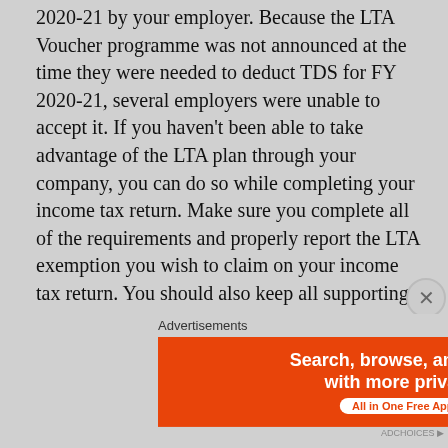2020-21 by your employer. Because the LTA Voucher programme was not announced at the time they were needed to deduct TDS for FY 2020-21, several employers were unable to accept it. If you haven't been able to take advantage of the LTA plan through your company, you can do so while completing your income tax return. Make sure you complete all of the requirements and properly report the LTA exemption you wish to claim on your income tax return. You should also keep all supporting documents, such as the tax invoice and payment evidence. You will be eligible to claim a refund of TDS deducted on the LTA amount if you utilise this scheme while completing your return (as per the eligibility criterion specified above).
Advertisements
[Figure (illustration): DuckDuckGo advertisement banner: orange left side with text 'Search, browse, and email with more privacy. All in One Free App', dark right side with DuckDuckGo logo.]